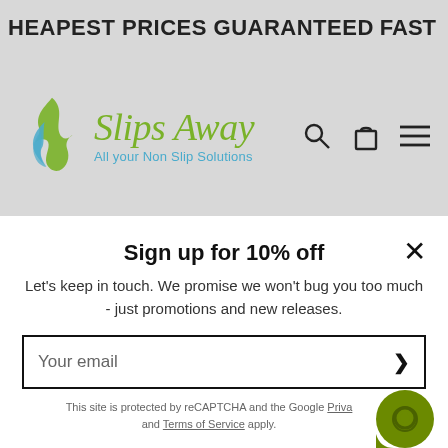CHEAPEST PRICES GUARANTEED    FAST
[Figure (logo): Slips Away logo with flame/water droplet icon and tagline 'All your Non Slip Solutions']
Sign up for 10% off
Let's keep in touch. We promise we won't bug you too much - just promotions and new releases.
Your email
This site is protected by reCAPTCHA and the Google Privacy Policy and Terms of Service apply.